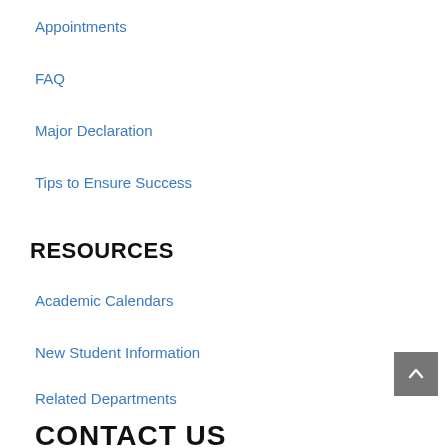Appointments
FAQ
Major Declaration
Tips to Ensure Success
RESOURCES
Academic Calendars
New Student Information
Related Departments
CONTACT US (partial)